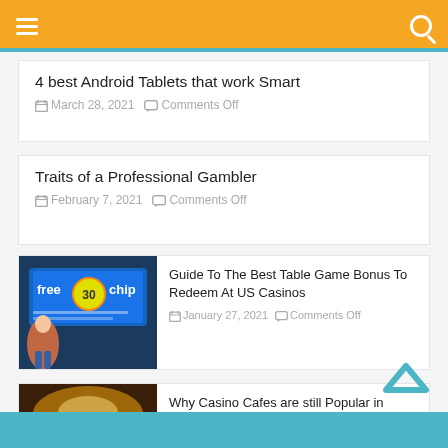Navigation bar with menu and search icons
4 best Android Tablets that work Smart
March 28, 2021 — Comments Off
Traits of a Professional Gambler
February 7, 2021 — Comments Off
[Figure (photo): Free chip casino promotional image with a woman and 'free 30 chip' banner]
Guide To The Best Table Game Bonus To Redeem At US Casinos
January 27, 2021 — Comments Off
[Figure (photo): Casino interior with slot machines and warm lighting]
Why Casino Cafes are still Popular in 2020?
November 28, 2020 — Comments Off
Back to top arrow and teal footer bar